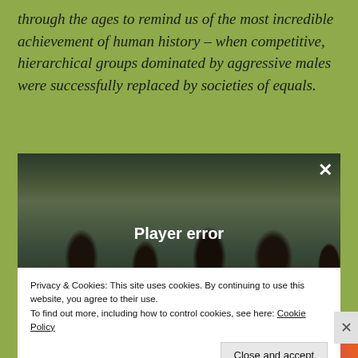through the ages to remind us of the most incredible achievement of human history – when competitive, hierarchical groups dominated by aggressive males were successfully replaced by societies of equals.
[Figure (screenshot): Video player showing a crowd scene with people, displaying a 'Player error' message in white text. A close (X) button is in the top right corner of the player.]
Privacy & Cookies: This site uses cookies. By continuing to use this website, you agree to their use.
To find out more, including how to control cookies, see here: Cookie Policy
Close and accept